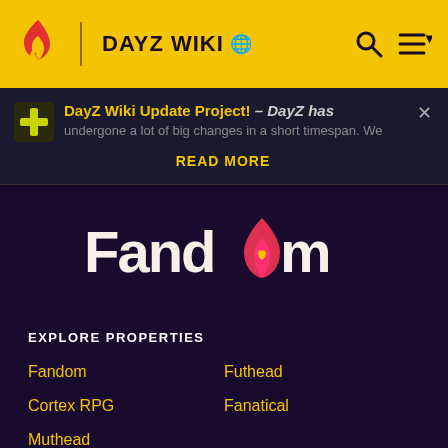DAYZ WIKI
DayZ Wiki Update Project! – DayZ has undergone a lot of big changes in a short timespan. We
READ MORE
[Figure (logo): Fandom logo with flame icon and heart]
EXPLORE PROPERTIES
Fandom
Futhead
Cortex RPG
Fanatical
Muthead